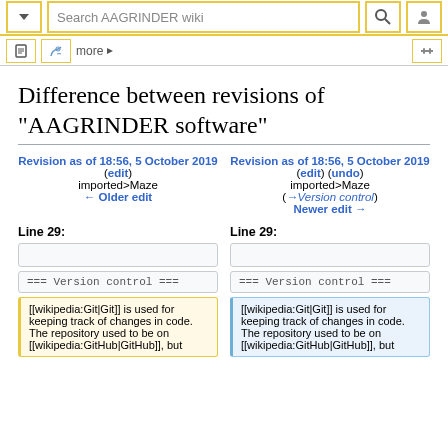[Figure (screenshot): Wikipedia-style wiki top navigation bar with search box, dropdown button, search icon, and user icon — all bordered in gold/yellow]
[Figure (screenshot): Second toolbar with page icon, talk icon, 'more' link with arrow, spacer, and tools icon — all bordered in gold/yellow]
Difference between revisions of "AAGRINDER software"
Revision as of 18:56, 5 October 2019 (edit)
imported>Maze
← Older edit
Revision as of 18:56, 5 October 2019 (edit) (undo)
imported>Maze
(→Version control)
Newer edit →
Line 29:
Line 29:
=== Version control ===
=== Version control ===
[[wikipedia:Git|Git]] is used for keeping track of changes in code. The repository used to be on [[wikipedia:GitHub|GitHub]], but
[[wikipedia:Git|Git]] is used for keeping track of changes in code. The repository used to be on [[wikipedia:GitHub|GitHub]], but